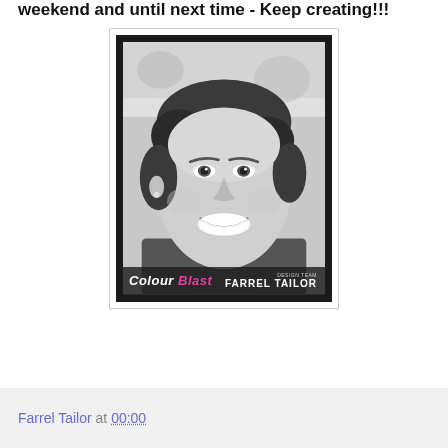weekend and until next time - Keep creating!!!
[Figure (photo): Black and white portrait photo of a smiling woman with short dark hair, with 'Colour Blast - Design Team Farrel Tailor' text overlay at the bottom, styled as a polaroid/photo card]
Farrel Tailor at 00:00